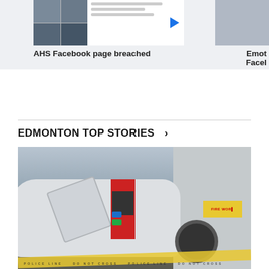[Figure (screenshot): Thumbnail screenshot of an AHS Facebook page video with photo grid and play button]
AHS Facebook page breached
Emot Face
EDMONTON TOP STORIES >
[Figure (photo): A damaged white SUV with an open door at what appears to be a gas station, with yellow police tape across the scene and a yellow FIRE WORM sign in the background.]